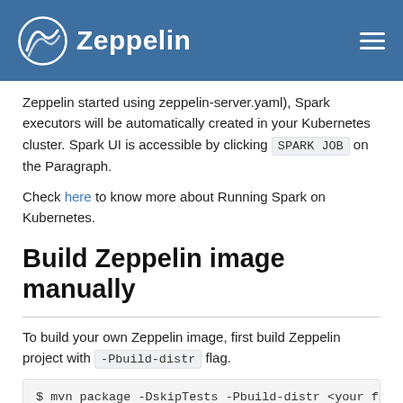Zeppelin
Zeppelin started using zeppelin-server.yaml), Spark executors will be automatically created in your Kubernetes cluster. Spark UI is accessible by clicking SPARK JOB on the Paragraph.
Check here to know more about Running Spark on Kubernetes.
Build Zeppelin image manually
To build your own Zeppelin image, first build Zeppelin project with -Pbuild-distr flag.
$ mvn package -DskipTests -Pbuild-distr <your fl
Binary package will be created under.